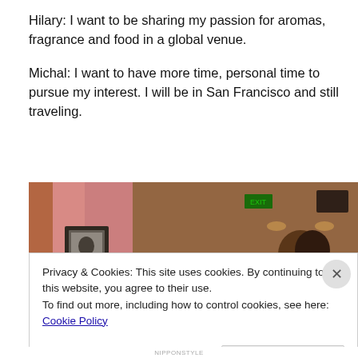Hilary: I want to be sharing my passion for aromas, fragrance and food in a global venue.

Michal: I want to have more time, personal time to pursue my interest. I will be in San Francisco and still traveling.
[Figure (photo): Interior photo of a dimly lit restaurant or event space with warm lighting, pink curtains, a framed picture on the wall, and people visible in the foreground and right side.]
Privacy & Cookies: This site uses cookies. By continuing to use this website, you agree to their use.
To find out more, including how to control cookies, see here: Cookie Policy